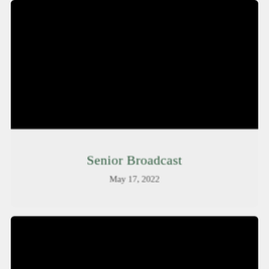[Figure (screenshot): Black video thumbnail rectangle at the top of the page]
Senior Broadcast
May 17, 2022
[Figure (screenshot): Black video thumbnail rectangle at the bottom of the page, partially visible]